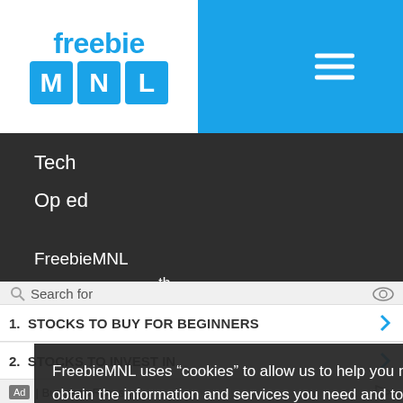[Figure (logo): FreebieMNL logo with blue background header bar and hamburger menu icon]
Tech
Op ed
FreebieMNL
W City Center, 7th Street
Taguig, Philippines 1630
Follow us on
[Figure (illustration): Social media icons: Facebook, Twitter, Instagram, Pinterest]
FreebieMNL uses “cookies” to allow us to help you navigate efficiently to obtain the information and services you need and to enhance user experience. Find out more here
Okay
Search for
1.  STOCKS TO BUY FOR BEGINNERS
2.  STOCKS TO INVEST IN
Ad | Business Focus